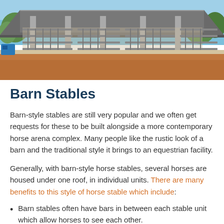[Figure (photo): Photograph of a barn stable structure with a large metal roof supported by columns, steel bar fencing/panels visible inside, blue sky with trees in background, red/orange dirt ground in foreground.]
Barn Stables
Barn-style stables are still very popular and we often get requests for these to be built alongside a more contemporary horse arena complex. Many people like the rustic look of a barn and the traditional style it brings to an equestrian facility.
Generally, with barn-style horse stables, several horses are housed under one roof, in individual units. There are many benefits to this style of horse stable which include:
Barn stables often have bars in between each stable unit which allow horses to see each other.
Internal channel for manoeuvring horses, cleaning and